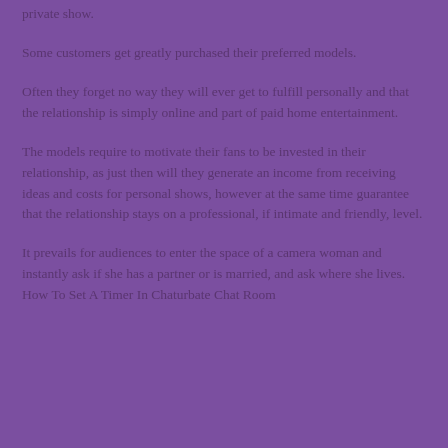private show.
Some customers get greatly purchased their preferred models.
Often they forget no way they will ever get to fulfill personally and that the relationship is simply online and part of paid home entertainment.
The models require to motivate their fans to be invested in their relationship, as just then will they generate an income from receiving ideas and costs for personal shows, however at the same time guarantee that the relationship stays on a professional, if intimate and friendly, level.
It prevails for audiences to enter the space of a camera woman and instantly ask if she has a partner or is married, and ask where she lives. How To Set A Timer In Chaturbate Chat Room